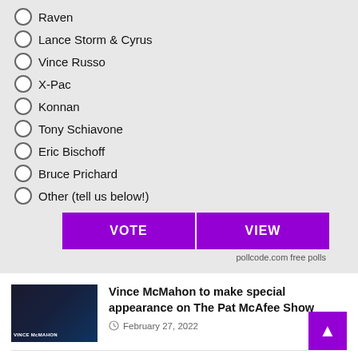Raven
Lance Storm & Cyrus
Vince Russo
X-Pac
Konnan
Tony Schiavone
Eric Bischoff
Bruce Prichard
Other (tell us below!)
VOTE   VIEW
pollcode.com free polls
Vince McMahon to make special appearance on The Pat McAfee Show
February 27, 2022
PODCAST RECAP: Talk Is Jericho with Jon Moxley – a detailed account of the final year of Dean Ambrose in WWE, how and why his departure took place, his future in